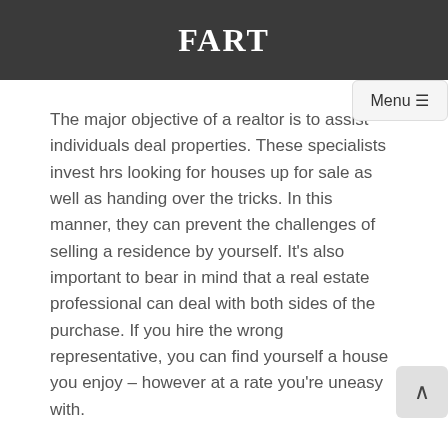FART
The major objective of a realtor is to assist individuals deal properties. These specialists invest hrs looking for houses up for sale as well as handing over the tricks. In this manner, they can prevent the challenges of selling a residence by yourself. It's also important to bear in mind that a real estate professional can deal with both sides of the purchase. If you hire the wrong representative, you can find yourself a house you enjoy – however at a rate you're uneasy with.